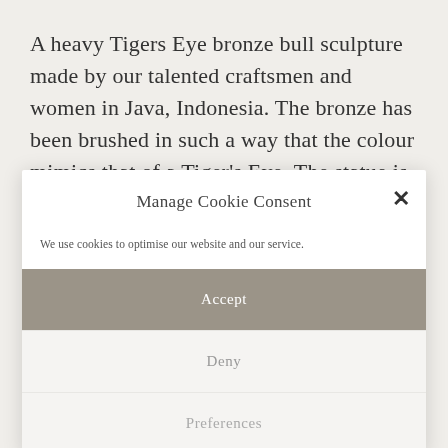A heavy Tigers Eye bronze bull sculpture made by our talented craftsmen and women in Java, Indonesia. The bronze has been brushed in such a way that the colour mimics that of a Tiger's Eye. The statue is composed of 3.3kg of brushed bronze which makes it a very dense and [blurred text continues]
Manage Cookie Consent
We use cookies to optimise our website and our service.
Accept
Deny
Preferences